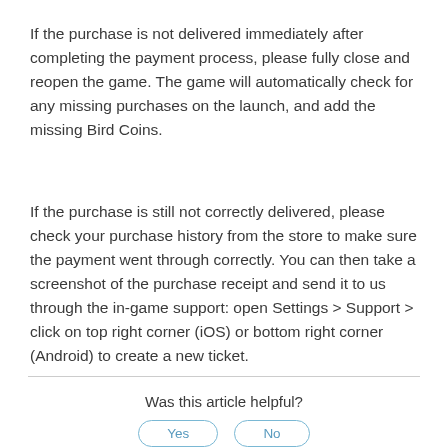If the purchase is not delivered immediately after completing the payment process, please fully close and reopen the game. The game will automatically check for any missing purchases on the launch, and add the missing Bird Coins.
If the purchase is still not correctly delivered, please check your purchase history from the store to make sure the payment went through correctly. You can then take a screenshot of the purchase receipt and send it to us through the in-game support: open Settings > Support > click on top right corner (iOS) or bottom right corner (Android) to create a new ticket.
Was this article helpful?